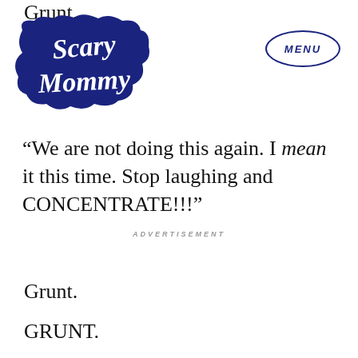Grunt.
[Figure (logo): Scary Mommy logo — bold white script text on dark navy blue cloud/bubble shape background]
[Figure (other): MENU button — oval border with italic bold uppercase MENU text in dark navy blue]
“We are not doing this again. I mean it this time. Stop laughing and CONCENTRATE!!!”
ADVERTISEMENT
Grunt.
GRUNT.